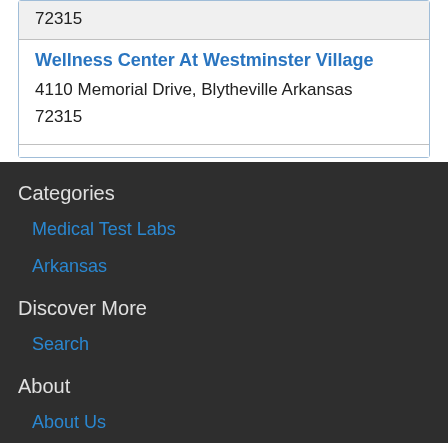72315
| Wellness Center At Westminster Village
4110 Memorial Drive, Blytheville Arkansas
72315 |
Categories
Medical Test Labs
Arkansas
Discover More
Search
About
About Us